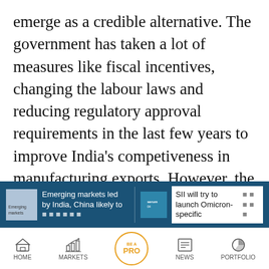emerge as a credible alternative. The government has taken a lot of measures like fiscal incentives, changing the labour laws and reducing regulatory approval requirements in the last few years to improve India's competiveness in manufacturing exports. However, the government will have to keep on working on it. In an unfortunate scenario of COVID tension persisting, the focus will remain on protecting lives and livelihood.
Disclaimer: The views and investment tips expressed by experts on Moneycontrol.com are
[Figure (screenshot): Bottom banner with two news teasers: left side (blue background) showing 'Emerging markets led by India, China likely to...' and right side showing 'SII will try to launch Omicron-specific...']
[Figure (screenshot): Navigation bar with icons: HOME, MARKETS, BE A PRO, NEWS, PORTFOLIO]